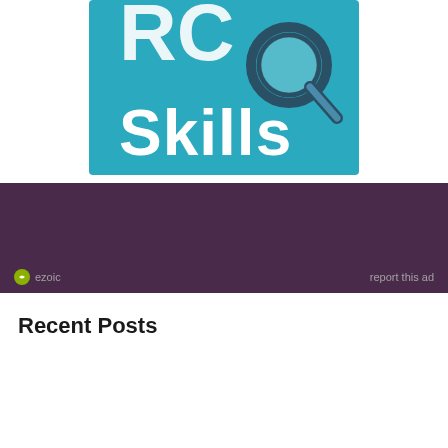[Figure (logo): A teal/blue square logo with white bold text 'Skills' and a magnifying glass icon, with partial letters visible at top]
[Figure (other): Dark purple/maroon advertisement banner with Ezoic branding at bottom left and 'report this ad' text at bottom right]
Recent Posts